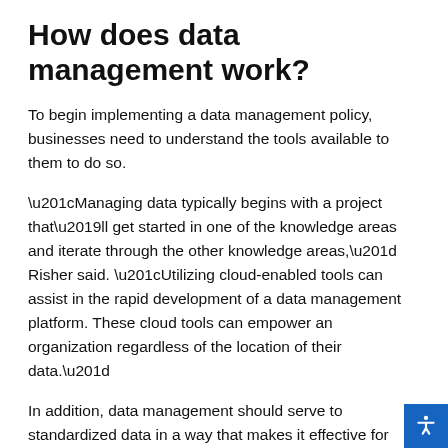How does data management work?
To begin implementing a data management policy, businesses need to understand the tools available to them to do so.
“Managing data typically begins with a project that’ll get started in one of the knowledge areas and iterate through the other knowledge areas,” Risher said. “Utilizing cloud-enabled tools can assist in the rapid development of a data management platform. These cloud tools can empower an organization regardless of the location of their data.”
In addition, data management should serve to standardized data in a way that makes it effective for business purposes. Not every software platform will collect data in the same way, or even collect